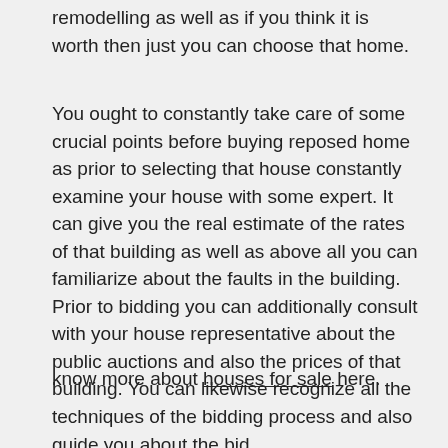remodelling as well as if you think it is worth then just you can choose that home.
You ought to constantly take care of some crucial points before buying reposed home as prior to selecting that house constantly examine your house with some expert. It can give you the real estimate of the rates of that building as well as above all you can familiarize about the faults in the building. Prior to bidding you can additionally consult with your house representative about the public auctions and also the prices of that building. You can likewise recognize all the techniques of the bidding process and also guide you about the bid.
know more about houses for sale here.